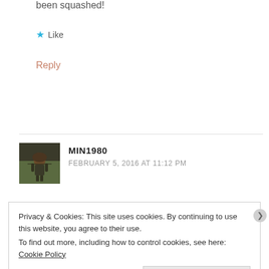been squashed!
★ Like
Reply
MIN1980
FEBRUARY 5, 2016 AT 11:12 PM
[Figure (photo): Avatar photo of MIN1980, a person standing outdoors with arms outstretched]
Privacy & Cookies: This site uses cookies. By continuing to use this website, you agree to their use.
To find out more, including how to control cookies, see here: Cookie Policy
Close and accept